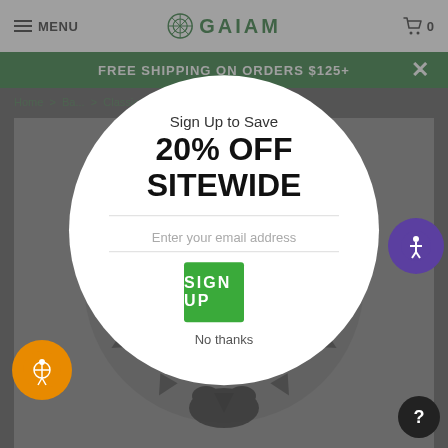MENU | GAIAM | 0
FREE SHIPPING ON ORDERS $125+
Home > Ba... > Classic Balance
[Figure (illustration): Mandala decorative background illustration in black and white on grey, star/flower pattern]
Sign Up to Save 20% OFF SITEWIDE
Enter your email address
SIGN UP
No thanks